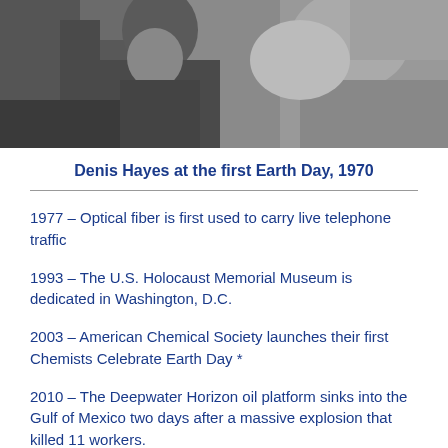[Figure (photo): Black and white photograph of Denis Hayes at the first Earth Day, 1970. Shows a person speaking or at a podium with crowd in background.]
Denis Hayes at the first Earth Day, 1970
1977 – Optical fiber is first used to carry live telephone traffic
1993 – The U.S. Holocaust Memorial Museum is dedicated in Washington, D.C.
2003 – American Chemical Society launches their first Chemists Celebrate Earth Day *
2010 – The Deepwater Horizon oil platform sinks into the Gulf of Mexico two days after a massive explosion that killed 11 workers.